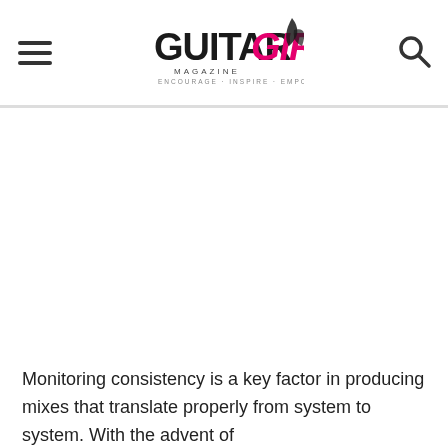Guitar Girl Magazine — ENCOURAGE · INSPIRE · EMPOWER
Monitoring consistency is a key factor in producing mixes that translate properly from system to system. With the advent of